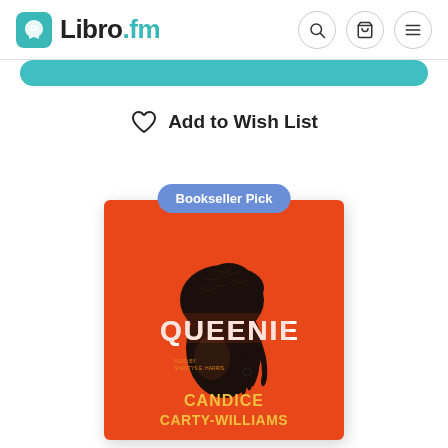Libro.fm
Add to Wish List
[Figure (illustration): Book cover for 'Queenie' by Candice Carty-Williams. Orange/red background with a silhouetted figure with braided hair. Title 'QUEENIE' in white distressed lettering. Author name 'CANDICE CARTY-WILLIAMS' in yellow at the bottom. A 'Bookseller Pick' badge in blue-purple is overlaid at the top.]